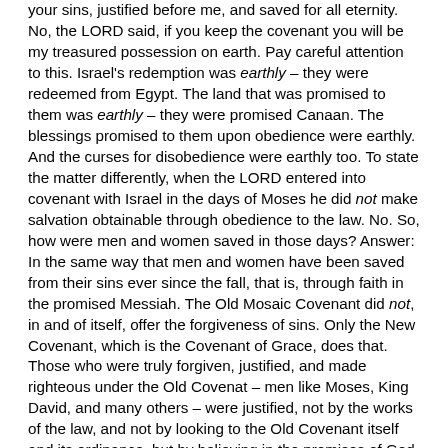your sins, justified before me, and saved for all eternity. No, the LORD said, if you keep the covenant you will be my treasured possession on earth. Pay careful attention to this. Israel's redemption was earthly – they were redeemed from Egypt. The land that was promised to them was earthly – they were promised Canaan. The blessings promised to them upon obedience were earthly. And the curses for disobedience were earthly too. To state the matter differently, when the LORD entered into covenant with Israel in the days of Moses he did not make salvation obtainable through obedience to the law. No. So, how were men and women saved in those days? Answer: In the same way that men and women have been saved from their sins ever since the fall, that is, through faith in the promised Messiah. The Old Mosaic Covenant did not, in and of itself, offer the forgiveness of sins. Only the New Covenant, which is the Covenant of Grace, does that. Those who were truly forgiven, justified, and made righteous under the Old Covenat – men like Moses, King David, and many others – were justified, not by the works of the law, and not by looking to the Old Covenant itself and its ordinance, but by believing in the promises of God reguarding the Messiah. Those promises were spoken to them, and those promised were pictured before them in the ceremonies and sacrifices of the Old Covenant system. But note this: to be saved from their sins the saints of old had to look to the future to the